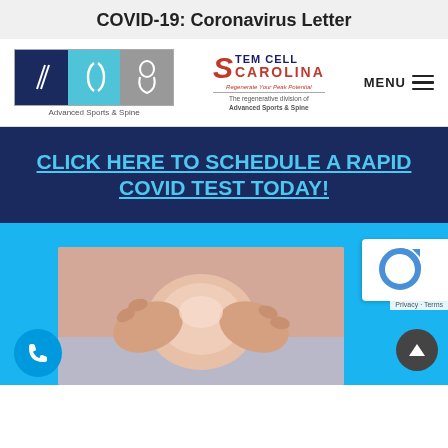COVID-19: Coronavirus Letter
[Figure (logo): Advanced Sports & Spine logo with three panel icons and Stem Cell Carolina logo with tagline 'Regenerate Your Peak Potential' and 'The regenerative division of Advanced Sports & Spine'. MENU hamburger button on right.]
CLICK HERE TO SCHEDULE A RAPID COVID TEST TODAY!
[Figure (photo): Person holding their knee with both hands, suggesting knee pain. Light background, blue section below.]